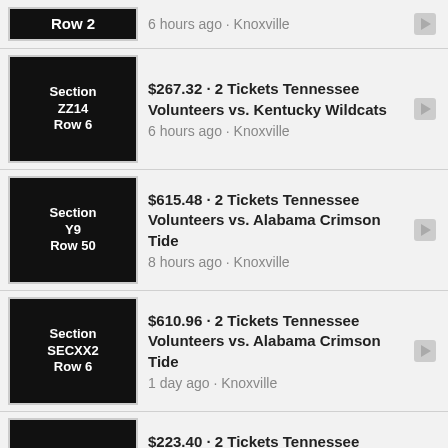Row 2 · 6 hours ago · Knoxville
$267.32 · 2 Tickets Tennessee Volunteers vs. Kentucky Wildcats · 6 hours ago · Knoxville · Section ZZ14 Row 6
$615.48 · 2 Tickets Tennessee Volunteers vs. Alabama Crimson Tide · 8 hours ago · Knoxville · Section Y9 Row 50
$610.96 · 2 Tickets Tennessee Volunteers vs. Alabama Crimson Tide · 1 day ago · Knoxville · Section SECXX2 Row 6
$223.40 · 2 Tickets Tennessee Volunteers vs. Missouri Tigers Football · 1 day ago · Knoxville · Section N Row 17
$689.67 · 3 Tickets Tennessee Volunteers vs. Alabama Crimson Tide · 1 day ago · Knoxville · Section GG Row 26
$55 · Dollywood Tickets Pigeon Forge, TN - Good Til